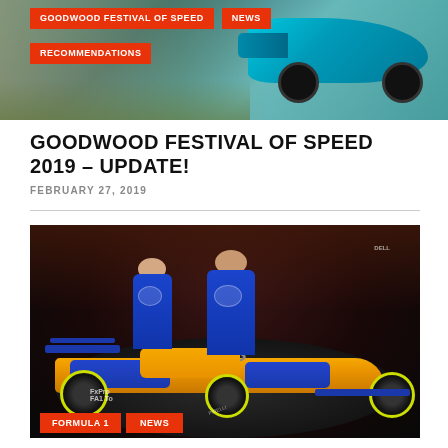[Figure (photo): Top banner showing a teal/cyan McLaren sports car at Goodwood Festival of Speed with red tag overlays for GOODWOOD FESTIVAL OF SPEED, NEWS, and RECOMMENDATIONS]
GOODWOOD FESTIVAL OF SPEED 2019 – UPDATE!
FEBRUARY 27, 2019
[Figure (photo): Two McLaren F1 drivers in blue racing suits standing beside the orange and blue McLaren MCL34 Formula 1 car on a dark display platform, with FORMULA 1 and NEWS tags at the bottom]
FORMULA 1   NEWS